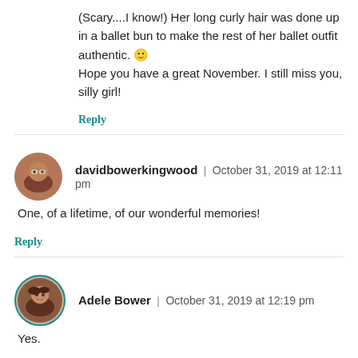(Scary....I know!) Her long curly hair was done up in a ballet bun to make the rest of her ballet outfit authentic. 🙂
Hope you have a great November. I still miss you, silly girl!
Reply
davidbowerkingwood | October 31, 2019 at 12:11 pm
One, of a lifetime, of our wonderful memories!
Reply
Adele Bower | October 31, 2019 at 12:19 pm
Yes.
Reply